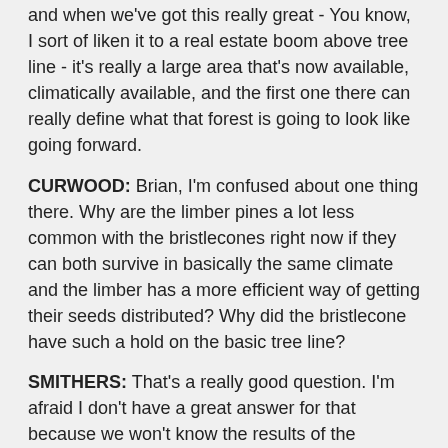and when we've got this really great - You know, I sort of liken it to a real estate boom above tree line - it's really a large area that's now available, climatically available, and the first one there can really define what that forest is going to look like going forward.
CURWOOD: Brian, I'm confused about one thing there. Why are the limber pines a lot less common with the bristlecones right now if they can both survive in basically the same climate and the limber has a more efficient way of getting their seeds distributed? Why did the bristlecone have such a hold on the basic tree line?
SMITHERS: That's a really good question. I'm afraid I don't have a great answer for that because we won't know the results of the phenomenon we're seeing now for 5,000, 10,000 years.
I've got a couple of theories on that. The first one is that